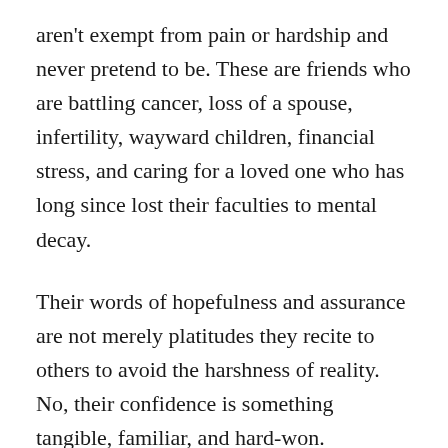aren't exempt from pain or hardship and never pretend to be. These are friends who are battling cancer, loss of a spouse, infertility, wayward children, financial stress, and caring for a loved one who has long since lost their faculties to mental decay.
Their words of hopefulness and assurance are not merely platitudes they recite to others to avoid the harshness of reality. No, their confidence is something tangible, familiar, and hard-won.
In the wake of losing his spouse, a friend